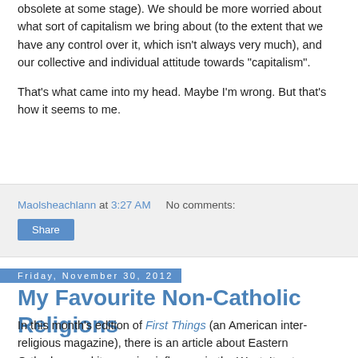obsolete at some stage). We should be more worried about what sort of capitalism we bring about (to the extent that we have any control over it, which isn't always very much), and our collective and individual attitude towards "capitalism".
That's what came into my head. Maybe I'm wrong. But that's how it seems to me.
Maolsheachlann at 3:27 AM   No comments:
Share
Friday, November 30, 2012
My Favourite Non-Catholic Religions
In this month's edition of First Things (an American inter-religious magazine), there is an article about Eastern Orthodoxy and its growing influence in the West. It got me thinking about other religions (both Christian and non-Christian) and which ones I could most easily imagine subscribing to, if I was not a Catholic.